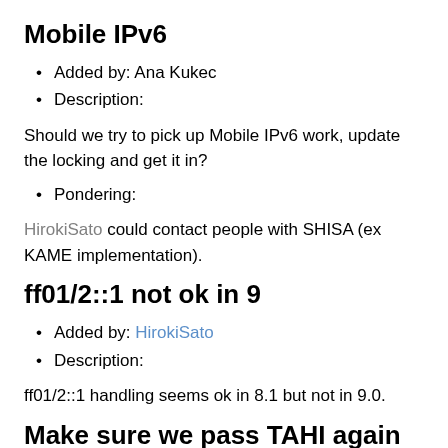Mobile IPv6
Added by: Ana Kukec
Description:
Should we try to pick up Mobile IPv6 work, update the locking and get it in?
Pondering:
HirokiSato could contact people with SHISA (ex KAME implementation).
ff01/2::1 not ok in 9
Added by: HirokiSato
Description:
ff01/2::1 handling seems ok in 8.1 but not in 9.0.
Make sure we pass TAHI again
Added by: PierreZande...